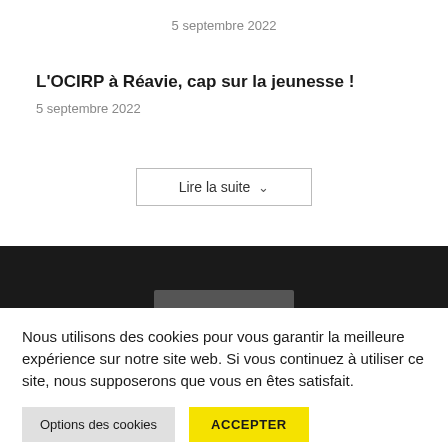5 septembre 2022
L'OCIRP à Réavie, cap sur la jeunesse !
5 septembre 2022
Lire la suite
[Figure (other): Dark banner with grey rectangle at bottom center]
Nous utilisons des cookies pour vous garantir la meilleure expérience sur notre site web. Si vous continuez à utiliser ce site, nous supposerons que vous en êtes satisfait.
Options des cookies
ACCEPTER